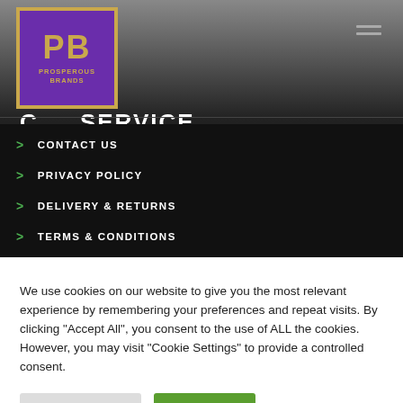[Figure (logo): Prosperous Brands logo — purple square with gold border, PB letters in gold, text PROSPEROUS BRANDS below]
C SERVICE
> CONTACT US
> PRIVACY POLICY
> DELIVERY & RETURNS
> TERMS & CONDITIONS
We use cookies on our website to give you the most relevant experience by remembering your preferences and repeat visits. By clicking "Accept All", you consent to the use of ALL the cookies. However, you may visit "Cookie Settings" to provide a controlled consent.